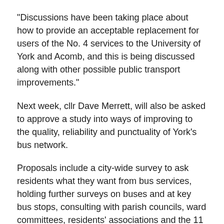“Discussions have been taking place about how to provide an acceptable replacement for users of the No. 4 services to the University of York and Acomb, and this is being discussed along with other possible public transport improvements.”
Next week, cllr Dave Merrett, will also be asked to approve a study into ways of improving to the quality, reliability and punctuality of York’s bus network.
Proposals include a city-wide survey to ask residents what they want from bus services, holding further surveys on buses and at key bus stops, consulting with parish councils, ward committees, residents’ associations and the 11 companies which operate bus services around York. The consultation will also include organisations such as Visit York, York Youth Council and York Independent Living Network.
Cllr Merrett said: ‘The council is committed to working with